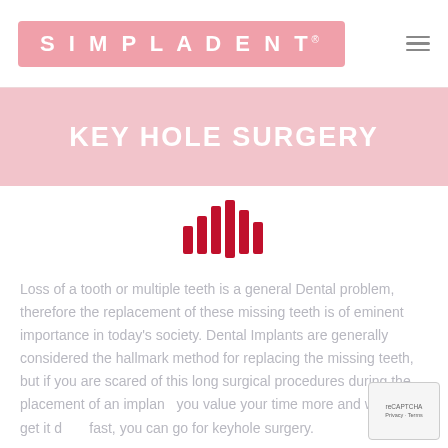SIMPLADENT®
KEY HOLE SURGERY
[Figure (logo): Simpladent audio/loading waveform icon — red vertical bars of varying heights centered on the page]
Loss of a tooth or multiple teeth is a general Dental problem, therefore the replacement of these missing teeth is of eminent importance in today's society. Dental Implants are generally considered the hallmark method for replacing the missing teeth, but if you are scared of this long surgical procedures during the placement of an implant, you value your time more and want to get it done fast, you can go for keyhole surgery.